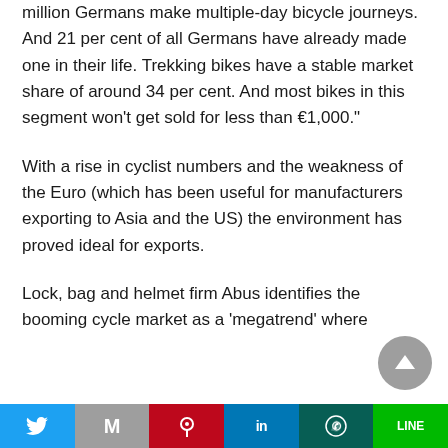million Germans make multiple-day bicycle journeys. And 21 per cent of all Germans have already made one in their life. Trekking bikes have a stable market share of around 34 per cent. And most bikes in this segment won’t get sold for less than €1,000.”
With a rise in cyclist numbers and the weakness of the Euro (which has been useful for manufacturers exporting to Asia and the US) the environment has proved ideal for exports.
Lock, bag and helmet firm Abus identifies the booming cycle market as a ‘megatrend’ where
[Figure (other): Social sharing bar at the bottom with icons for Twitter, Mail, Pinterest, LinkedIn, WhatsApp, and LINE]